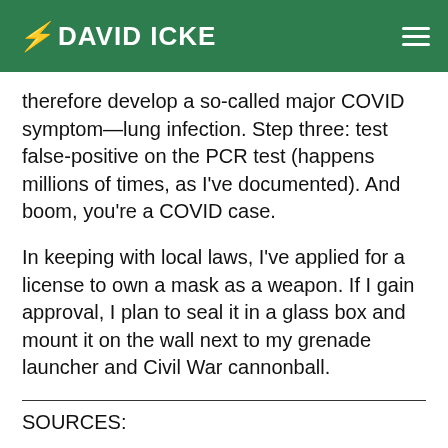DAVID ICKE
therefore develop a so-called major COVID symptom—lung infection. Step three: test false-positive on the PCR test (happens millions of times, as I've documented). And boom, you're a COVID case.
In keeping with local laws, I've applied for a license to own a mask as a weapon. If I gain approval, I plan to seal it in a glass box and mount it on the wall next to my grenade launcher and Civil War cannonball.
SOURCES: